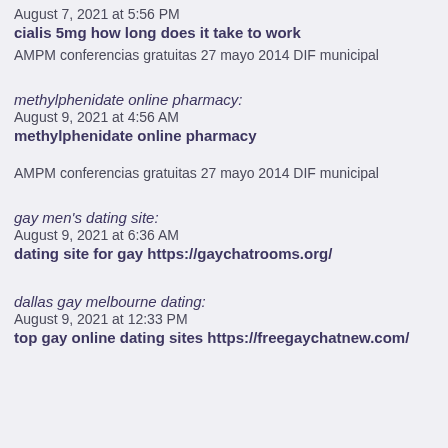August 7, 2021 at 5:56 PM
cialis 5mg how long does it take to work
AMPM conferencias gratuitas 27 mayo 2014 DIF municipal
methylphenidate online pharmacy:
August 9, 2021 at 4:56 AM
methylphenidate online pharmacy
AMPM conferencias gratuitas 27 mayo 2014 DIF municipal
gay men's dating site:
August 9, 2021 at 6:36 AM
dating site for gay https://gaychatrooms.org/
dallas gay melbourne dating:
August 9, 2021 at 12:33 PM
top gay online dating sites https://freegaychatnew.com/